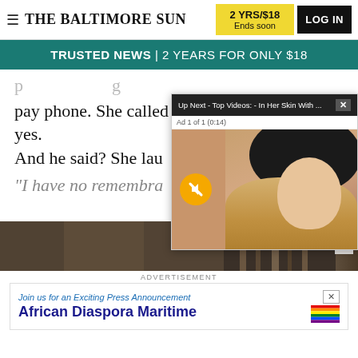THE BALTIMORE SUN — 2 YRS/$18 Ends soon — LOG IN
TRUSTED NEWS | 2 YEARS FOR ONLY $18
pay phone. She called him immediately to say yes.
And he said? She lau...
[Figure (screenshot): Video popup: Up Next - Top Videos: - In Her Skin With ... | Ad 1 of 1 (0:14) | Video frame showing blonde woman in black hat, mute button overlay]
"I have no remembra...
[Figure (photo): Bottom advertisement image strip showing partial photo of person in denim jacket with bookshelf background]
ADVERTISEMENT
[Figure (other): Advertisement banner: 'Join us for an Exciting Press Announcement — African Diaspora Maritime' with rainbow flag graphic]